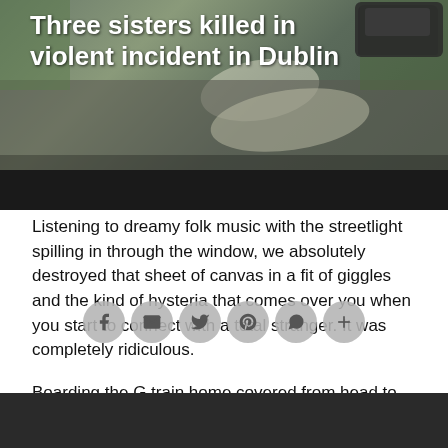[Figure (photo): News article header image showing a road/street scene with a dark car visible in the upper right corner. A white road marking is visible on the road surface.]
Three sisters killed in violent incident in Dublin
Listening to dreamy folk music with the streetlight spilling in through the window, we absolutely destroyed that sheet of canvas in a fit of giggles and the kind of hysteria that comes over you when you start to connect with a total stranger. It was completely ridiculous.
Boarding the G train home covered from head to toe in paint and sawdust – just the state in which I had found him a few hours prior – I found myself grinning like a fool. We had walked hand in hand to the train like silly lovers in a terrible chick flick where entirely unrealistic things happen to perfectly ordinary people.
Maybe, readers, you were right. Stay... the men from New